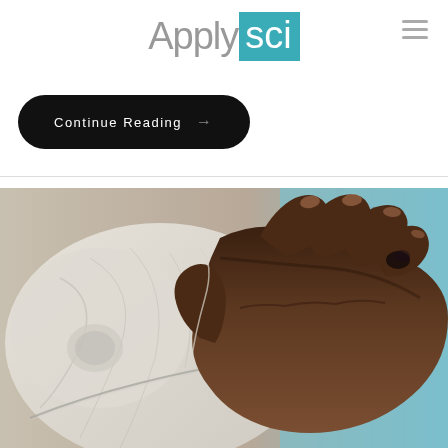ApplySCI
Continue Reading →
[Figure (photo): Close-up photograph of a dark-skinned hand holding a white medical mask or bandage, with a thin tube/wire visible, against a blurred blue background.]